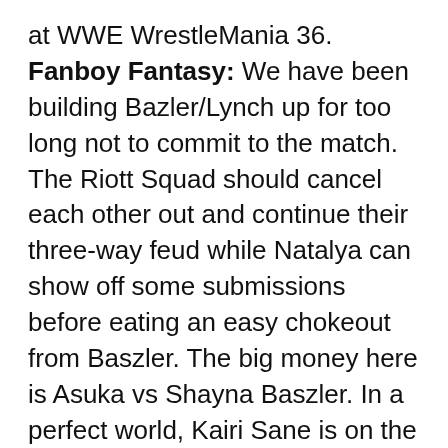at WWE WrestleMania 36. Fanboy Fantasy: We have been building Bazler/Lynch up for too long not to commit to the match. The Riott Squad should cancel each other out and continue their three-way feud while Natalya can show off some submissions before eating an easy chokeout from Baszler. The big money here is Asuka vs Shayna Baszler. In a perfect world, Kairi Sane is on the outside purely as support for her WWE Women's Tag Team partner until a main roster-debuting Mercedes Martinez takes Sane out, breaks into the cage, and helps Baszler destroy Asuka. This keeps the shine on Asuka (as she should always have), sets up a quick mini-feud